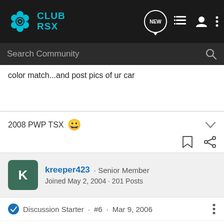Club RSX
color match...and post pics of ur car
2008 PWP TSX 😀
kreeper423 · Senior Member
Joined May 2, 2004 · 201 Posts
Discussion Starter · #6 · Mar 9, 2006